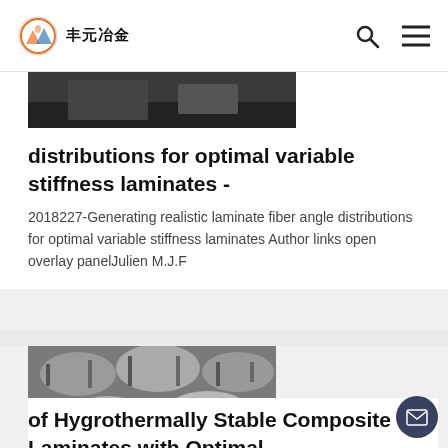丰元冶金
[Figure (photo): Dark/grey industrial background image, partially visible at top of card]
distributions for optimal variable stiffness laminates -
2018227-Generating realistic laminate fiber angle distributions for optimal variable stiffness laminates Author links open overlay panelJulien M.J.F
[Figure (photo): Photograph of large metallic industrial rolls/coils stacked in a warehouse]
of Hygrothermally Stable Composite Laminates with Optimal...